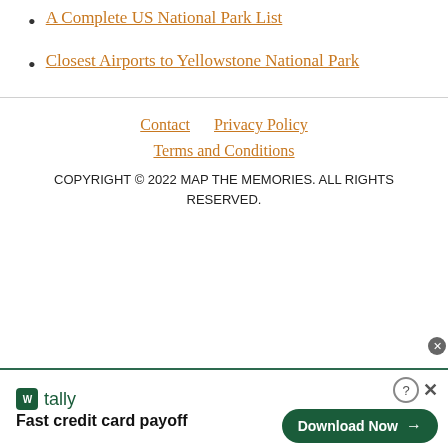A Complete US National Park List
Closest Airports to Yellowstone National Park
Contact  Privacy Policy  Terms and Conditions  COPYRIGHT © 2022 MAP THE MEMORIES. ALL RIGHTS RESERVED.
[Figure (screenshot): Tally app advertisement banner with logo, tagline 'Fast credit card payoff', and 'Download Now' button]